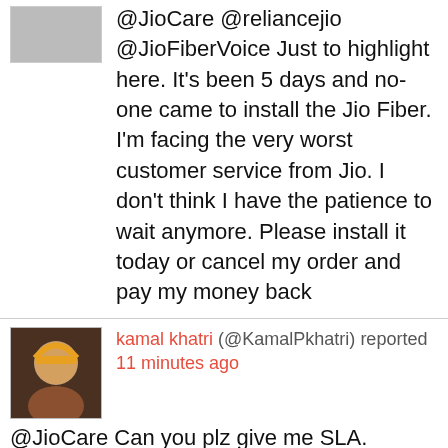@JioCare @reliancejio @JioFiberVoice Just to highlight here. It's been 5 days and no-one came to install the Jio Fiber. I'm facing the very worst customer service from Jio. I don't think I have the patience to wait anymore. Please install it today or cancel my order and pay my money back
kamal khatri (@KamalPkhatri) reported 11 minutes ago
@JioCare Can you plz give me SLA. Otherwise what is a use of raising complaint if it is not getting resolved within SLA
Gourishankar Mishra (@Gourish79603917) reported 14 minutes ago
@reliancejio I am having issues with jio + hotstar Further i am to clarify that in my phone hotstar working